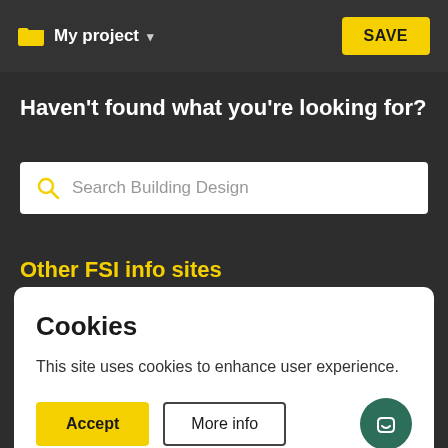My project ▾
SAVE
Haven't found what you're looking for?
Search Building Design
Other FSI info sites
Cookies
This site uses cookies to enhance user experience.
Accept
More info
BUILDING DESIGN helps designers, specifiers and buyers